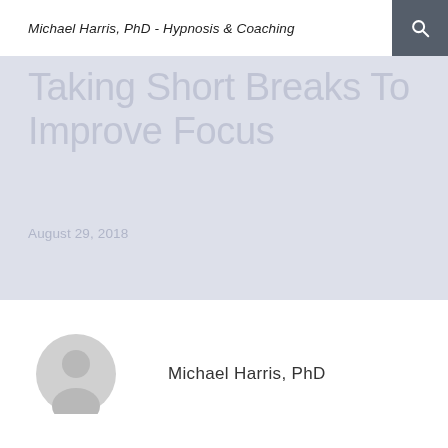Michael Harris, PhD - Hypnosis & Coaching
Taking Short Breaks To Improve Focus
August 29, 2018
[Figure (illustration): Generic user avatar icon — circular grey silhouette of a person]
Michael Harris, PhD